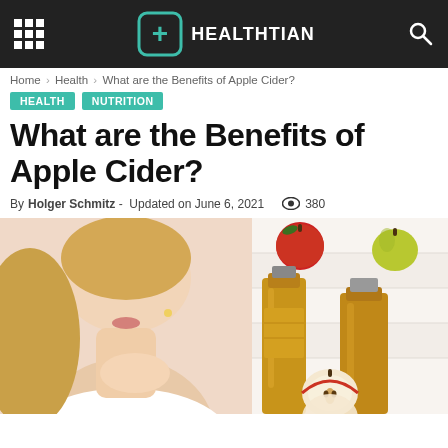HEALTHTIAN
Home > Health > What are the Benefits of Apple Cider?
HEALTH  NUTRITION
What are the Benefits of Apple Cider?
By Holger Schmitz - Updated on June 6, 2021  380
[Figure (photo): Collage of four photos: woman touching her throat, bottles of apple cider vinegar with apples, close-up of skin with acne, and halved apple with apple cider bottles]